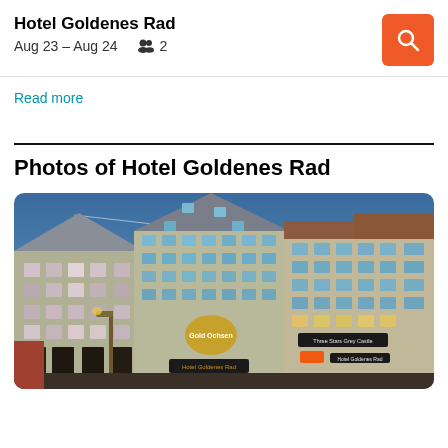Hotel Goldenes Rad
Aug 23 – Aug 24  👥 2
Read more
Photos of Hotel Goldenes Rad
[Figure (photo): Exterior photo of Hotel Goldenes Rad at dusk/twilight. Multi-story beige/tan buildings with illuminated signs reading 'Gold Ochsen' and 'Hotel Goldenes Rad'. Blue sky background, street lamps visible in foreground.]